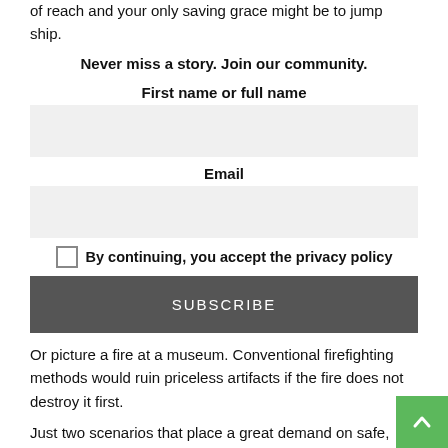of reach and your only saving grace might be to jump ship.
Never miss a story. Join our community.
First name or full name
Email
By continuing, you accept the privacy policy
SUBSCRIBE
Or picture a fire at a museum. Conventional firefighting methods would ruin priceless artifacts if the fire does not destroy it first.
Just two scenarios that place a great demand on safe, efficient